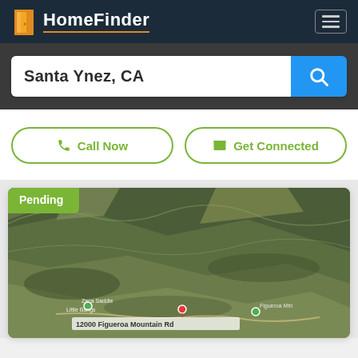[Figure (logo): HomeFinder logo with orange door icon and white text on dark navy background, with hamburger menu icon on the right]
Santa Ynez, CA
Call Now
Get Connected
[Figure (map): Satellite/aerial map view of mountainous terrain near Santa Ynez, CA. Shows rugged hills and valleys with label '12000 Figueroa Mountain Rd' and a red pin marker. Green dot markers visible on roads.]
Pending